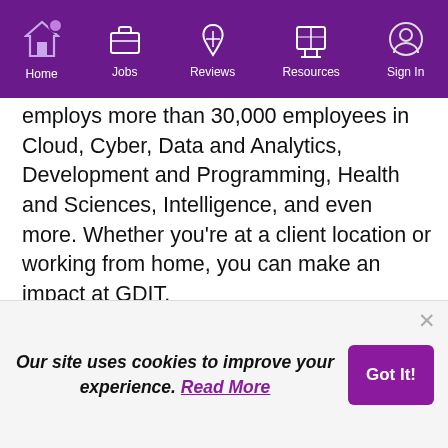Home | Jobs | Reviews | Resources | Sign In
employs more than 30,000 employees in Cloud, Cyber, Data and Analytics, Development and Programming, Health and Sciences, Intelligence, and even more. Whether you're at a client location or working from home, you can make an impact at GDIT.
Why you should apply for a job with General Dynamics
Apply on company site
Save for later
Our site uses cookies to improve your experience. Read More
Got It!